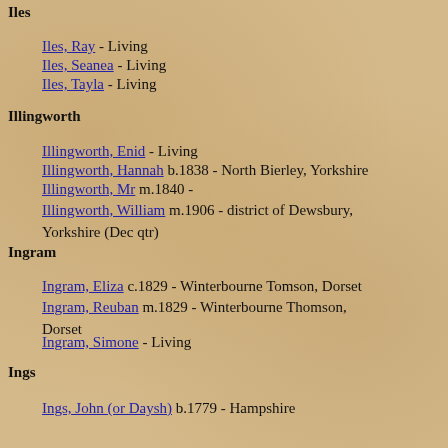Iles
Iles, Ray - Living
Iles, Seanea - Living
Iles, Tayla - Living
Illingworth
Illingworth, Enid - Living
Illingworth, Hannah b.1838 - North Bierley, Yorkshire
Illingworth, Mr m.1840 -
Illingworth, William m.1906 - district of Dewsbury, Yorkshire (Dec qtr)
Ingram
Ingram, Eliza c.1829 - Winterbourne Tomson, Dorset
Ingram, Reuban m.1829 - Winterbourne Thomson, Dorset
Ingram, Simone - Living
Ings
Ings, John (or Daysh) b.1779 - Hampshire